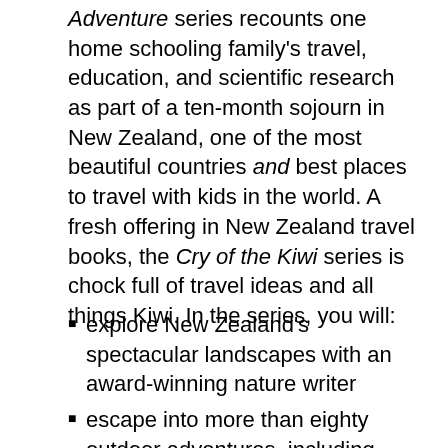Adventure series recounts one home schooling family's travel, education, and scientific research as part of a ten-month sojourn in New Zealand, one of the most beautiful countries and best places to travel with kids in the world. A fresh offering in New Zealand travel books, the Cry of the Kiwi series is chock full of travel ideas and all things Kiwi. In the series, you will:
explore New Zealand's spectacular landscapes with an award-winning nature writer
escape into more than eighty outdoor adventures, including wildlife research aimed at helping endangered kiwi birds